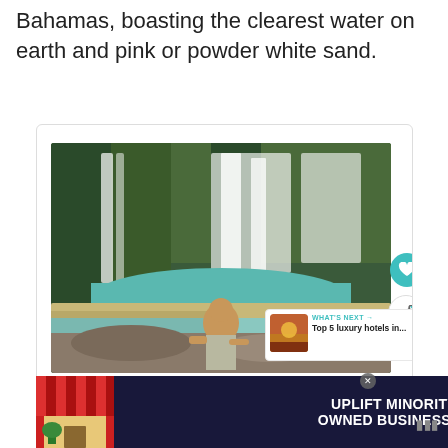Bahamas, boasting the clearest water on earth and pink or powder white sand.
[Figure (photo): Woman sitting on rocks in front of a multi-tiered waterfall with turquoise water and lush green forest background]
WHAT'S NEXT → Top 5 luxury hotels in...
[Figure (photo): Small thumbnail image showing a sunset/travel scene for 'What's Next' panel]
[Figure (screenshot): Advertisement banner: UPLIFT MINORITY OWNED BUSINESSES with decorative store imagery on dark background]